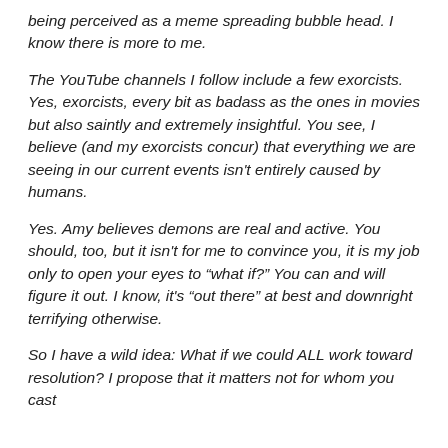being perceived as a meme spreading bubble head. I know there is more to me.
The YouTube channels I follow include a few exorcists. Yes, exorcists, every bit as badass as the ones in movies but also saintly and extremely insightful. You see, I believe (and my exorcists concur) that everything we are seeing in our current events isn't entirely caused by humans.
Yes. Amy believes demons are real and active. You should, too, but it isn't for me to convince you, it is my job only to open your eyes to “what if?” You can and will figure it out. I know, it's “out there” at best and downright terrifying otherwise.
So I have a wild idea: What if we could ALL work toward resolution? I propose that it matters not for whom you cast